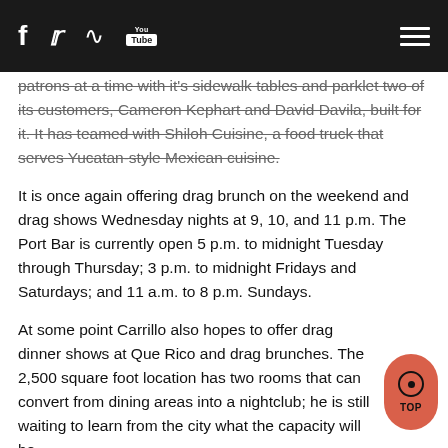f [twitter] [rss] [youtube] [menu]
patrons at a time with it's sidewalk tables and parklet two of its customers, Cameron Kephart and David Davila, built for it. It has teamed with Shiloh Cuisine, a food truck that serves Yucatan-style Mexican cuisine.
It is once again offering drag brunch on the weekend and drag shows Wednesday nights at 9, 10, and 11 p.m. The Port Bar is currently open 5 p.m. to midnight Tuesday through Thursday; 3 p.m. to midnight Fridays and Saturdays; and 11 a.m. to 8 p.m. Sundays.
At some point Carrillo also hopes to offer drag dinner shows at Que Rico and drag brunches. The 2,500 square foot location has two rooms that can convert from dining areas into a nightclub; he is still waiting to learn from the city what the capacity will be.